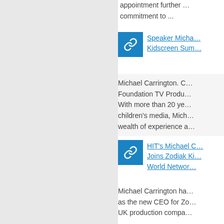appointment further … commitment to ...
Speaker Micha… Kidscreen Sum…
Michael Carrington. C… Foundation TV Produ… With more than 20 ye… children's media, Mich… wealth of experience a…
HIT's Michael C… Joins Zodiak Ki… World Networ…
Michael Carrington ha… as the new CEO for Zo… UK production compa…